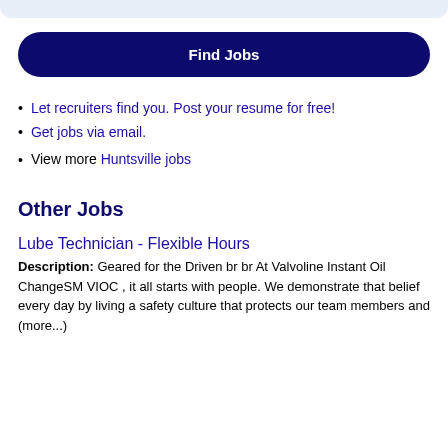Let recruiters find you. Post your resume for free!
Get jobs via email.
View more Huntsville jobs
Other Jobs
Lube Technician - Flexible Hours
Description: Geared for the Driven br br At Valvoline Instant Oil ChangeSM VIOC , it all starts with people. We demonstrate that belief every day by living a safety culture that protects our team members and (more...)